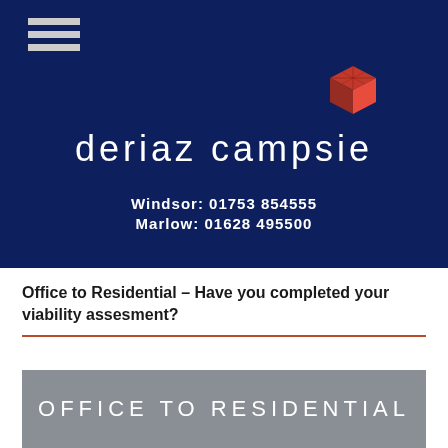[Figure (logo): Deriaz Campsie company header with dark navy background, hamburger menu icon top-left, red cube logo top-right, company name 'deriaz campsie' in white, and contact numbers for Windsor and Marlow offices]
Office to Residential – Have you completed your viability assesment?
[Figure (illustration): Grey banner with white text reading 'OFFICE TO RESIDENTIAL']